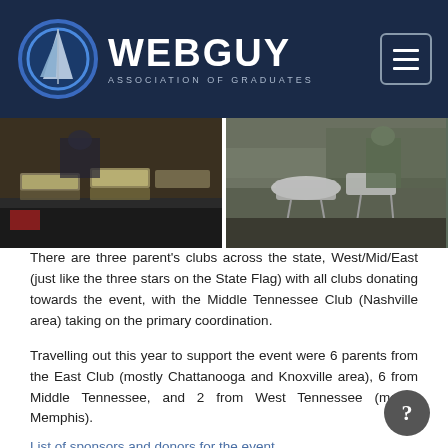WEBGUY ASSOCIATION OF GRADUATES
[Figure (photo): Two side-by-side photos of a food serving event with catering trays]
There are three parent’s clubs across the state, West/Mid/East (just like the three stars on the State Flag) with all clubs donating towards the event, with the Middle Tennessee Club (Nashville area) taking on the primary coordination.
Travelling out this year to support the event were 6 parents from the East Club (mostly Chattanooga and Knoxville area), 6 from Middle Tennessee, and 2 from West Tennessee (mostly Memphis).
List of sponsors and donors for the event.
Parents of Tennessee Cadets donated
Hatch Show Prints
Tennessee Titans, NFL team